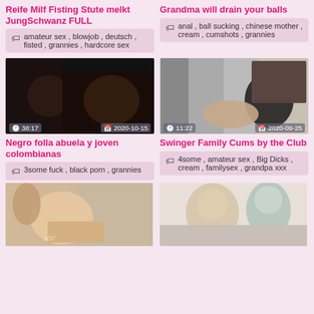Reife Milf Fisting Stute melkt JungSchwanz FULL
amateur sex , blowjob , deutsch , fisted , grannies , hardcore sex
Grandma will drain your balls
anal , ball sucking , chinese mother , cream , cumshots , grannies
[Figure (photo): Video thumbnail showing adult content, duration 38:17, date 2020-10-15]
[Figure (photo): Video thumbnail showing adult content, duration 11:22, date 2020-09-25]
Negro folla abuela y joven colombianas
3some fuck , black porn , grannies
Swinger Family Cums by the Club
4some , amateur sex , Big Dicks , cream , familysex , grandpa xxx
[Figure (photo): Video thumbnail bottom left showing adult content]
[Figure (photo): Video thumbnail bottom right showing adult content]